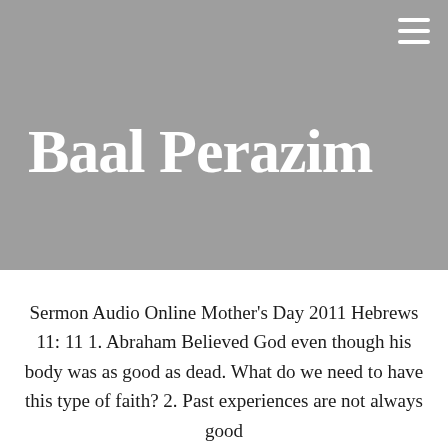Baal Perazim
Sermon Audio Online Mother's Day 2011 Hebrews 11: 11 1. Abraham Believed God even though his body was as good as dead. What do we need to have this type of faith? 2. Past experiences are not always good